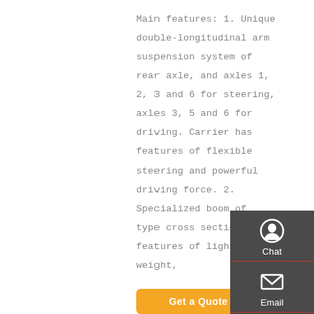Main features: 1. Unique double-longitudinal arm suspension system of rear axle, and axles 1, 2, 3 and 6 for steering, axles 3, 5 and 6 for driving. Carrier has features of flexible steering and powerful driving force. 2. Specialized boom of type cross section has features of light dead weight,
[Figure (other): Sidebar widget with Chat, Email, Contact, and Top navigation icons on dark grey background]
[Figure (other): Get a Quote orange button partially visible at bottom]